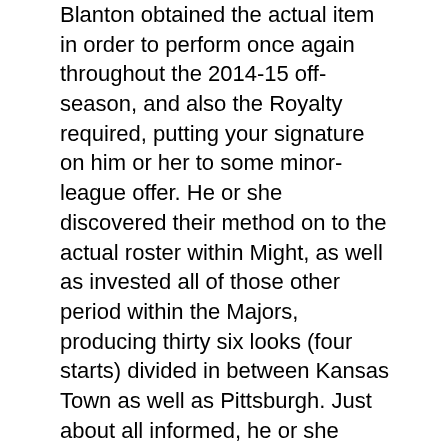Blanton obtained the actual item in order to perform once again throughout the 2014-15 off-season, and also the Royalty required, putting your signature on him or her to some minor-league offer. He or she discovered their method on to the actual roster within Might, as well as invested all of those other period within the Majors, producing thirty six looks (four starts) divided in between Kansas Town as well as Pittsburgh. Just about all informed, he or she frequency towards the subsequent collection: seventy six IP, two. 84 PERIOD, two. 80 FIP, http://www.dodgersonlineproshop.com/joe-blanton-jersey-c-1669/ twenty five. 6 K%, 5. two BB%.
It had been much more from the exact same within 2016, that Blanton invested using the Dodgers following putting your signature on the one-year, $4 MM offer. He or she rated sixth within the Majors along with eighty IP from the bullpen, having a two. forty eight PERIOD, 3. thirty-three FIP, twenty five. 4% strikeouts,